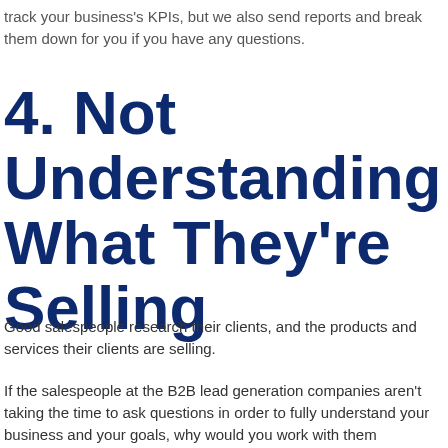track your business's KPIs, but we also send reports and break them down for you if you have any questions.
4. Not Understanding What They're Selling
Good salespeople research their clients, and the products and services their clients are selling.
If the salespeople at the B2B lead generation companies aren't taking the time to ask questions in order to fully understand your business and your goals, why would you work with them